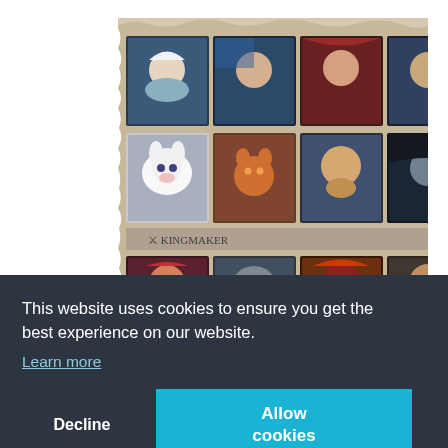[Figure (screenshot): Screenshot of a game character selection screen (likely Pathfinder: Kingmaker) showing a grid of fantasy character portrait thumbnails — two rows of 7 portraits each in the top section, a row labeled 'Kingmaker', and a third partial row of 7 portraits. Characters include humans, elves, animals (white fox, orange fox), and fantastical creatures.]
This website uses cookies to ensure you get the best experience on our website.
Learn more
Decline
Allow cookies
th
and who will go? Make your choices, and watch the